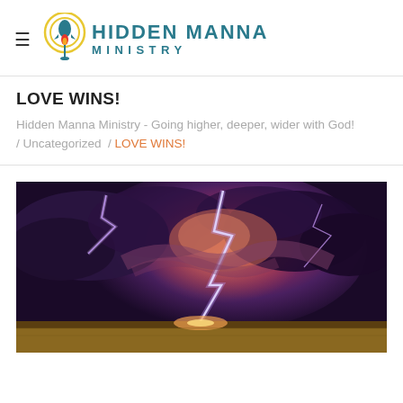Hidden Manna Ministry
LOVE WINS!
Hidden Manna Ministry - Going higher, deeper, wider with God! / Uncategorized / LOVE WINS!
[Figure (photo): Dramatic lightning strike photo showing storm clouds lit with purple and orange light over a flat wheat field at night.]